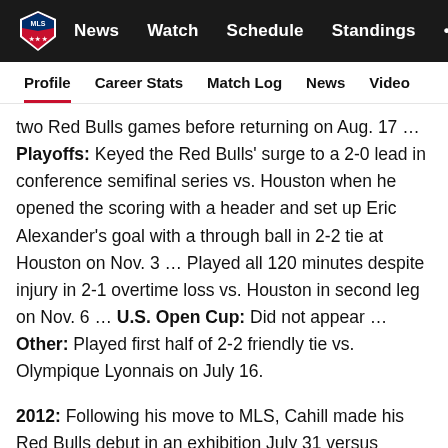MLS | News  Watch  Schedule  Standings  ...
Profile
Career Stats
Match Log
News
Video
two Red Bulls games before returning on Aug. 17 … Playoffs: Keyed the Red Bulls' surge to a 2-0 lead in conference semifinal series vs. Houston when he opened the scoring with a header and set up Eric Alexander's goal with a through ball in 2-2 tie at Houston on Nov. 3 … Played all 120 minutes despite injury in 2-1 overtime loss vs. Houston in second leg on Nov. 6 … U.S. Open Cup: Did not appear … Other: Played first half of 2-2 friendly tie vs. Olympique Lyonnais on July 16.
2012: Following his move to MLS, Cahill made his Red Bulls debut in an exhibition July 31 versus Tottenham at